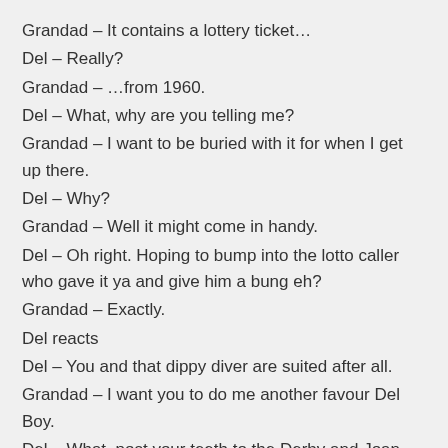Grandad – It contains a lottery ticket…
Del – Really?
Grandad – …from 1960.
Del – What, why are you telling me?
Grandad – I want to be buried with it for when I get up there.
Del – Why?
Grandad – Well it might come in handy.
Del – Oh right. Hoping to bump into the lotto caller who gave it ya and give him a bung eh?
Grandad – Exactly.
Del reacts
Del – You and that dippy diver are suited after all.
Grandad – I want you to do me another favour Del Boy.
Del – What, post your teeth to the Derby and Joan club?
Grandad – I want you to keep my portable telly in my room.